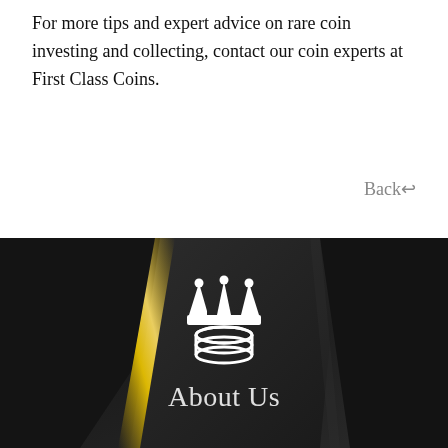For more tips and expert advice on rare coin investing and collecting, contact our coin experts at First Class Coins.
Back↵
[Figure (logo): First Class Coins logo: white crown above stacked coins icon on dark geometric background with gold diagonal stripe]
About Us